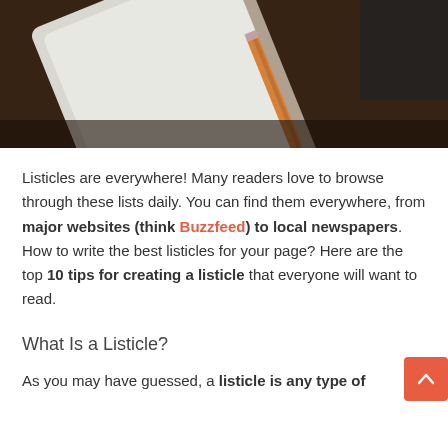[Figure (photo): Overhead photo of a notebook and pencil on a dark brown textured surface]
Listicles are everywhere! Many readers love to browse through these lists daily. You can find them everywhere, from major websites (think Buzzfeed) to local newspapers. How to write the best listicles for your page? Here are the top 10 tips for creating a listicle that everyone will want to read.
What Is a Listicle?
As you may have guessed, a listicle is any type of